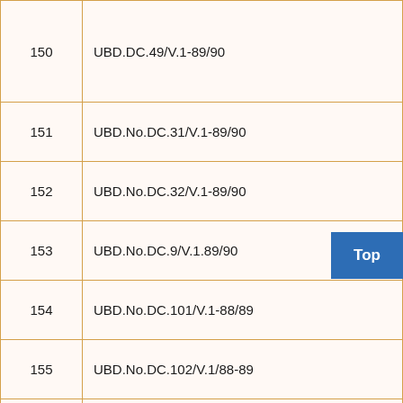| No. | Document Code |
| --- | --- |
| 150 | UBD.DC.49/V.1-89/90 |
| 151 | UBD.No.DC.31/V.1-89/90 |
| 152 | UBD.No.DC.32/V.1-89/90 |
| 153 | UBD.No.DC.9/V.1.89/90 |
| 154 | UBD.No.DC.101/V.1-88/89 |
| 155 | UBD.No.DC.102/V.1/88-89 |
| 156 | UBD.No.DC.12/V.1(B)-88/89 |
| 157 | UBD.No.DC.104/V-1/87-88 |